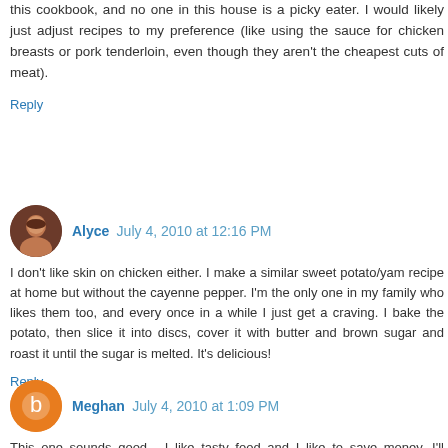this cookbook, and no one in this house is a picky eater. I would likely just adjust recipes to my preference (like using the sauce for chicken breasts or pork tenderloin, even though they aren't the cheapest cuts of meat).
Reply
Alyce  July 4, 2010 at 12:16 PM
I don't like skin on chicken either. I make a similar sweet potato/yam recipe at home but without the cayenne pepper. I'm the only one in my family who likes them too, and every once in a while I just get a craving. I bake the potato, then slice it into discs, cover it with butter and brown sugar and roast it until the sugar is melted. It's delicious!
Reply
Meghan  July 4, 2010 at 1:09 PM
This one sounds good - I like tasty food and I like to save money. I'll probably check out the blog first though!